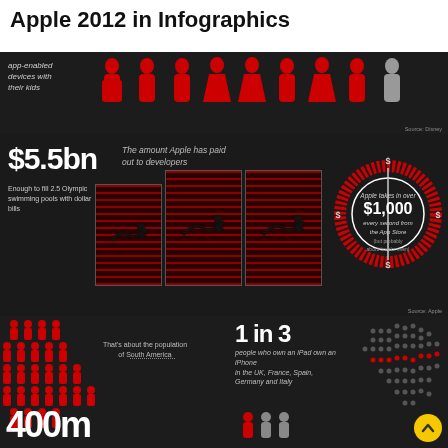Apple 2012 in Infographics
[Figure (infographic): Infographic showing Apple 2012 statistics. Top section: app-enabled devices with kids - people icons in red and grey. Middle section: $5.5bn the amount Apple has paid out to developers, enough to fill 2.5 Olympic swimming pools with dollar bills; Apple takes in over $1,000 every second from the App Store (but probably about breaks even). Bottom section: 400m figure representing about the population of South America; 1 in 3 people who own an iPad own an iPhone in the UK, France, Spain, Germany and Italy. Map dots visible on right side.]
Source: Disney
Source: Apple